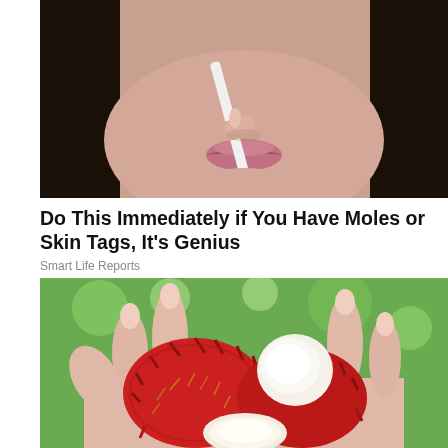[Figure (photo): Close-up photo of a woman holding a white cosmetic applicator near her lips, with dark hair visible]
Do This Immediately if You Have Moles or Skin Tags, It's Genius
Smart Life Reports
[Figure (photo): Photo of a hand holding rambutan fruits, one peeled open showing the white flesh inside, with green background]